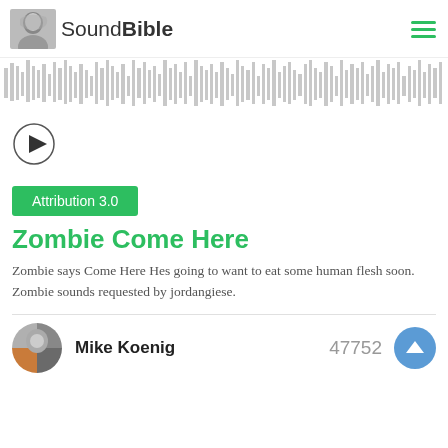SoundBible
[Figure (other): Audio waveform visualization showing sound bars in gray]
[Figure (other): Circular play button with triangle arrow]
Attribution 3.0
Zombie Come Here
Zombie says Come Here Hes going to want to eat some human flesh soon. Zombie sounds requested by jordangiese.
Mike Koenig  47752